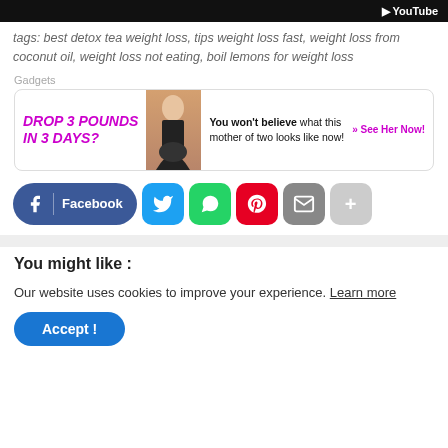[Figure (screenshot): Black top bar with YouTube logo on the right]
tags: best detox tea weight loss, tips weight loss fast, weight loss from coconut oil, weight loss not eating, boil lemons for weight loss
Gadgets
[Figure (infographic): Advertisement banner: DROP 3 POUNDS IN 3 DAYS? with image of woman and text 'You won't believe what this mother of two looks like now!' and » See Her Now! CTA]
[Figure (infographic): Social share buttons row: Facebook, Twitter, WhatsApp, Pinterest, Email, More]
You might like :
Our website uses cookies to improve your experience. Learn more
Accept !